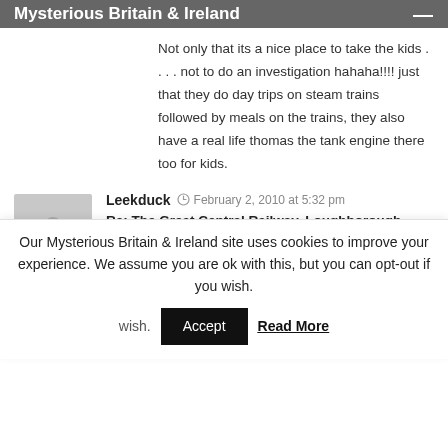Mysterious Britain & Ireland
Not only that its a nice place to take the kids . . . . not to do an investigation hahaha!!!! just that they do day trips on steam trains followed by meals on the trains, they also have a real life thomas the tank engine there too for kids.
Leekduck  February 2, 2010 at 5:32 pm
Re: The Great Central Railway, Loughborough, Leicestershire
OH I KNOW WHERE YOU MEAN
I went there when I was around 8 and went on thomas the tank engine, Who knew that place would be haunted?
Our Mysterious Britain & Ireland site uses cookies to improve your experience. We assume you are ok with this, but you can opt-out if you wish.  Accept  Read More